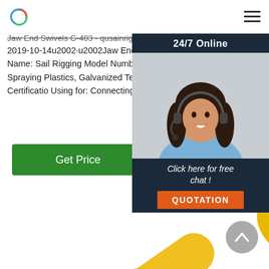Jaw End Swivels G-403 - qusainrigging.com
2019-10-14u2002·u2002Jaw End Swivels G-403. Place of origin: Shandong,China Brand Name: Sail Rigging Model Number: US Type Material: Carbon or Alloy Steel. Surface: Spraying Plastics, Galvanized Technology: Forging 1/4" to 1 1/2" Packing: Carton + Pallet Certification: Using for: Connecting Chains. Contact Us: mana
[Figure (screenshot): 24/7 Online chat widget with a woman wearing a headset, 'Click here for free chat!' text, and a QUOTATION button]
Get Price
[Figure (photo): Close-up photo of a yellow jaw end swivel (G-403) hardware piece with a ring at one end]
[Figure (other): Grey circular back-to-top arrow button]